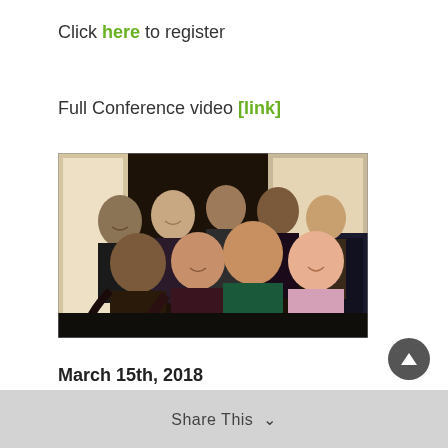Click here to register
Full Conference video [link]
[Figure (photo): Group photo of approximately 9 young women posing together indoors in a dimly lit room, smiling at the camera. Some are wearing casual clothing including a green hoodie and a pink sweatshirt.]
March 15th, 2018
Share This ∨